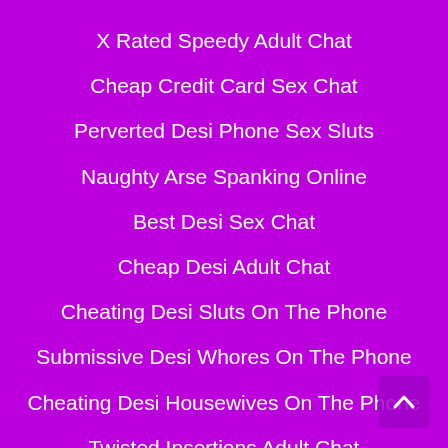X Rated Speedy Adult Chat
Cheap Credit Card Sex Chat
Perverted Desi Phone Sex Sluts
Naughty Arse Spanking Online
Best Desi Sex Chat
Cheap Desi Adult Chat
Cheating Desi Sluts On The Phone
Submissive Desi Whores On The Phone
Cheating Desi Housewives On The Phone
Twisted Insertions Adult Chat